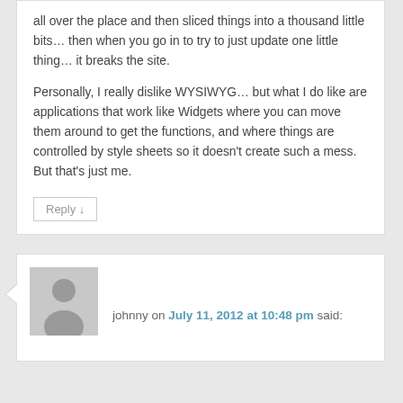all over the place and then sliced things into a thousand little bits… then when you go in to try to just update one little thing… it breaks the site.
Personally, I really dislike WYSIWYG… but what I do like are applications that work like Widgets where you can move them around to get the functions, and where things are controlled by style sheets so it doesn't create such a mess. But that's just me.
Reply ↓
[Figure (illustration): Generic user avatar placeholder — grey silhouette of a person on a grey background]
johnny on July 11, 2012 at 10:48 pm said: